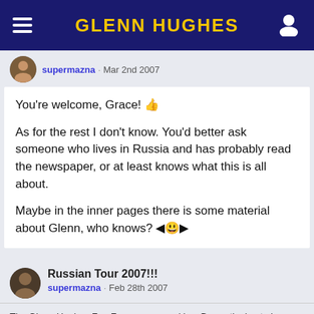Glenn Hughes
supermazna · Mar 2nd 2007
You're welcome, Grace! 👍

As for the rest I don't know. You'd better ask someone who lives in Russia and has probably read the newspaper, or at least knows what this is all about.

Maybe in the inner pages there is some material about Glenn, who knows? 🤔
Russian Tour 2007!!!
supermazna · Feb 28th 2007
The Glenn Hughes Fan Forum uses cookies. By continuing to browse this site, you are agreeing to our use of cookies.